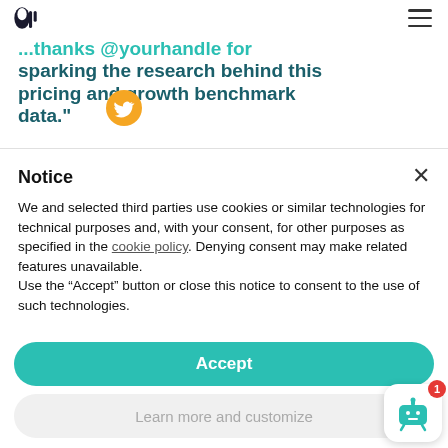Logo and navigation hamburger menu
...thanks @yourhandle for sparking the research behind this pricing and growth benchmark data."
Notice
We and selected third parties use cookies or similar technologies for technical purposes and, with your consent, for other purposes as specified in the cookie policy. Denying consent may make related features unavailable.
Use the “Accept” button or close this notice to consent to the use of such technologies.
Accept
Learn more and customize